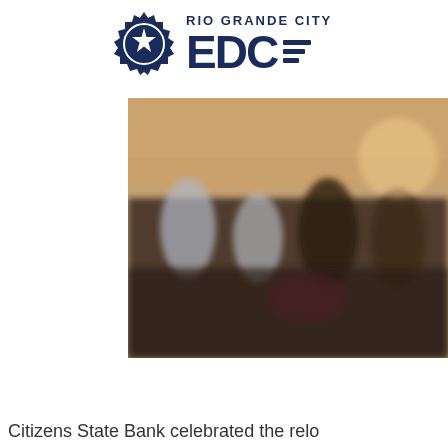[Figure (logo): Rio Grande City EDC logo with badge/star emblem on the left and text 'RIO GRANDE CITY' above 'EDC' with speed lines on the right]
[Figure (photo): Blurred group photo of people gathered indoors, appears to be an event or celebration at Citizens State Bank]
Citizens State Bank celebrated the relo